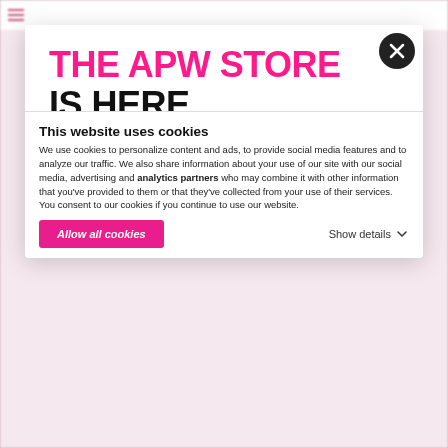[Figure (screenshot): A website modal popup over a blurred wedding website. The modal shows 'THE APW STORE IS HERE' with a laptop screenshot showing a wedding dresses page, and a cookie consent notice at the bottom.]
THE APW STORE IS HERE
This website uses cookies
We use cookies to personalize content and ads, to provide social media features and to analyze our traffic. We also share information about your use of our site with our social media, advertising and analytics partners who may combine it with other information that you've provided to them or that they've collected from your use of their services. You consent to our cookies if you continue to use our website.
Allow all cookies
Show details